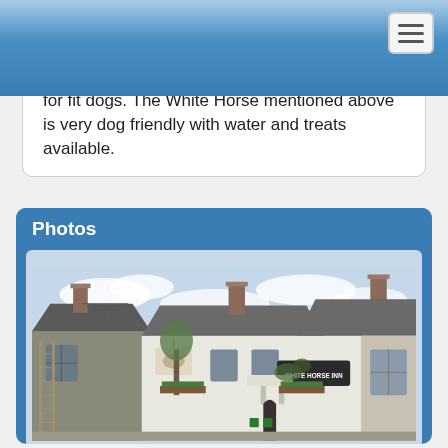for fit dogs. The White Horse mentioned above is very dog friendly with water and treats available.
Photos
[Figure (photo): Exterior photograph of the White Horse Inn, a traditional English pub/inn building with stone and whitewashed walls, slate roofs, multiple chimneys, a TV antenna, and a hanging pub sign reading 'White Horse Inn'. A ladder leans against the left side of the building.]